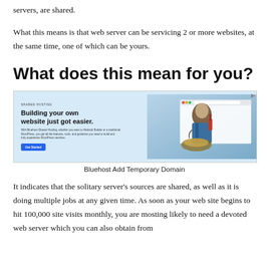servers, are shared.
What this means is that web server can be servicing 2 or more websites, at the same time, one of which can be yours.
What does this mean for you?
[Figure (screenshot): Bluehost website builder page screenshot showing 'Building your own website just got easier.' with a chef image on the right side and a blue 'Get Started' button.]
Bluehost Add Temporary Domain
It indicates that the solitary server's sources are shared, as well as it is doing multiple jobs at any given time. As soon as your web site begins to hit 100,000 site visits monthly, you are mosting likely to need a devoted web server which you can also obtain from